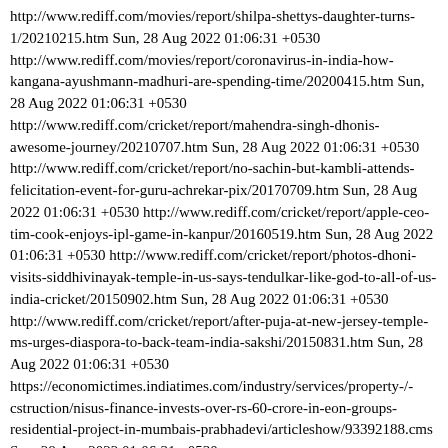http://www.rediff.com/movies/report/shilpa-shettys-daughter-turns-1/20210215.htm Sun, 28 Aug 2022 01:06:31 +0530 http://www.rediff.com/movies/report/coronavirus-in-india-how-kangana-ayushmann-madhuri-are-spending-time/20200415.htm Sun, 28 Aug 2022 01:06:31 +0530 http://www.rediff.com/cricket/report/mahendra-singh-dhonis-awesome-journey/20210707.htm Sun, 28 Aug 2022 01:06:31 +0530 http://www.rediff.com/cricket/report/no-sachin-but-kambli-attends-felicitation-event-for-guru-achrekar-pix/20170709.htm Sun, 28 Aug 2022 01:06:31 +0530 http://www.rediff.com/cricket/report/apple-ceo-tim-cook-enjoys-ipl-game-in-kanpur/20160519.htm Sun, 28 Aug 2022 01:06:31 +0530 http://www.rediff.com/cricket/report/photos-dhoni-visits-siddhivinayak-temple-in-us-says-tendulkar-like-god-to-all-of-us-india-cricket/20150902.htm Sun, 28 Aug 2022 01:06:31 +0530 http://www.rediff.com/cricket/report/after-puja-at-new-jersey-temple-ms-urges-diaspora-to-back-team-india-sakshi/20150831.htm Sun, 28 Aug 2022 01:06:31 +0530 https://economictimes.indiatimes.com/industry/services/property-/-cstruction/nisus-finance-invests-over-rs-60-crore-in-eon-groups-residential-project-in-mumbais-prabhadevi/articleshow/93392188.cms Sun, 28 Aug 2022 01:06:31 +0530 http://www.rediff.com/movies/report/john-plays-villain-with-disha-tara-arjun/20220725.htm Sun, 28 Aug 2022 01:06:31 +0530